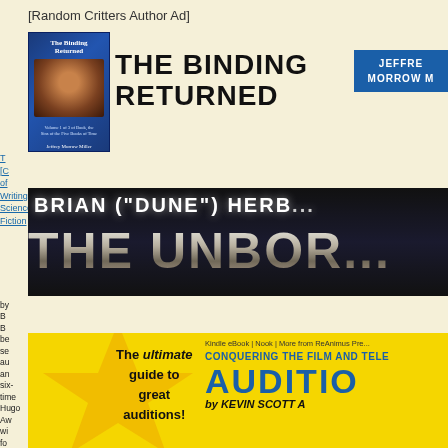[Random Critters Author Ad]
[Figure (illustration): Book cover for 'The Binding Returned' by Jeffrey Morrow Miller, blue cover with figure of person]
THE BINDING RETURNED
JEFFREY MORROW M
Writing Science Fiction
[Figure (banner): Dark space-themed banner reading BRIAN ("DUNE") HERB... and THE UNBOR...]
[Figure (infographic): Yellow star audition ad: The ultimate guide to great auditions! CONQUERING THE FILM AND TELE... AUDITIO... by KEVIN SCOTT A...]
Kindle eBook | Nook | More from ReAnimus Pre...
CONQUERING THE FILM AND TELE
AUDITIO
by KEVIN SCOTT A